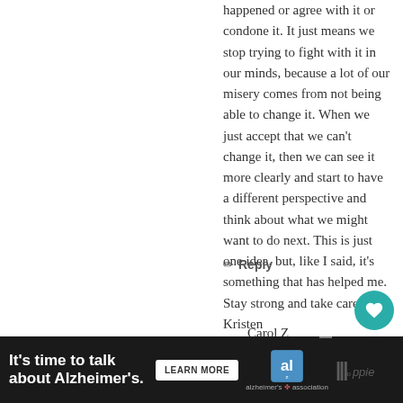happened or agree with it or condone it. It just means we stop trying to fight with it in our minds, because a lot of our misery comes from not being able to change it. When we just accept that we can't change it, then we can see it more clearly and start to have a different perspective and think about what we might want to do next. This is just one idea, but, like I said, it's something that has helped me. Stay strong and take care. -Kristen
✏ Reply
Carol Z
April 3, 2021 at 3:04 pm
I will check that out! I've never heard of
[Figure (infographic): Advertisement banner for Alzheimer's Association: 'It's time to talk about Alzheimer's.' with a LEARN MORE button and Alzheimer's Association logo.]